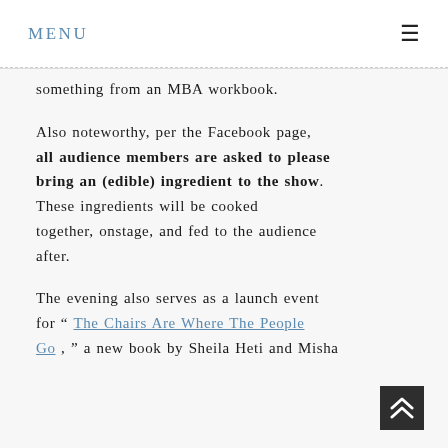MENU
something from an MBA workbook.
Also noteworthy, per the Facebook page, all audience members are asked to please bring an (edible) ingredient to the show. These ingredients will be cooked together, onstage, and fed to the audience after.
The evening also serves as a launch event for “ The Chairs Are Where The People Go , ” a new book by Sheila Heti and Misha